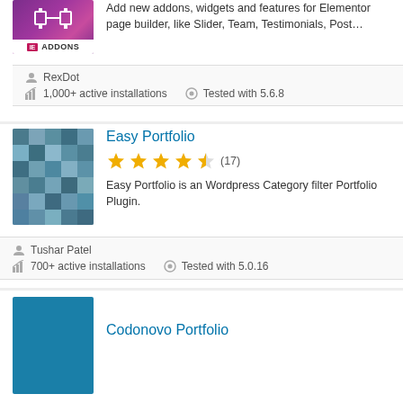[Figure (screenshot): Plugin logo for Elementor Addons with magenta/purple gradient background showing widget icon and 'IE ADDONS' label at bottom]
Add new addons, widgets and features for Elementor page builder, like Slider, Team, Testimonials, Post…
RexDot
1,000+ active installations
Tested with 5.6.8
[Figure (screenshot): Pixelated blue/grey abstract image for Easy Portfolio plugin]
Easy Portfolio
(17) star rating - 4.5 stars
Easy Portfolio is an Wordpress Category filter Portfolio Plugin.
Tushar Patel
700+ active installations
Tested with 5.0.16
[Figure (screenshot): Blue banner/image for Codonovo Portfolio plugin (partially visible)]
Codonovo Portfolio